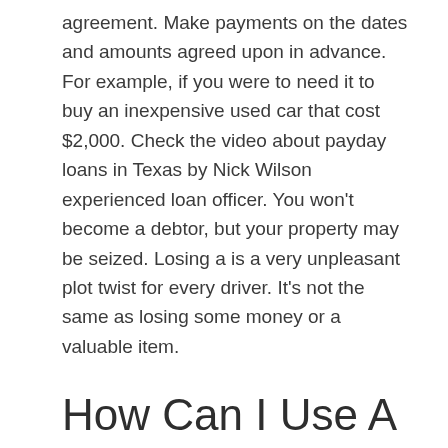agreement. Make payments on the dates and amounts agreed upon in advance. For example, if you were to need it to buy an inexpensive used car that cost $2,000. Check the video about payday loans in Texas by Nick Wilson experienced loan officer. You won't become a debtor, but your property may be seized. Losing a is a very unpleasant plot twist for every driver. It's not the same as losing some money or a valuable item.
How Can I Use A Payday Loan In Port Neches, Tx?